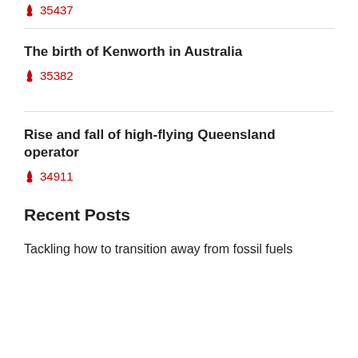🔥 35437
The birth of Kenworth in Australia
🔥 35382
Rise and fall of high-flying Queensland operator
🔥 34911
Recent Posts
Tackling how to transition away from fossil fuels